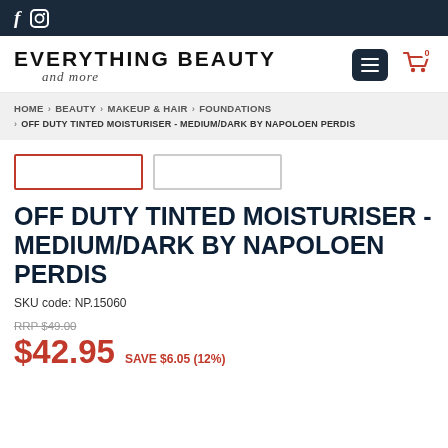f [Facebook] [Instagram]
[Figure (logo): Everything Beauty and more logo with menu button and cart icon]
HOME › BEAUTY › MAKEUP & HAIR › FOUNDATIONS › OFF DUTY TINTED MOISTURISER - MEDIUM/DARK BY NAPOLOEN PERDIS
OFF DUTY TINTED MOISTURISER - MEDIUM/DARK BY NAPOLOEN PERDIS
SKU code: NP.15060
RRP $49.00
$42.95  SAVE $6.05 (12%)